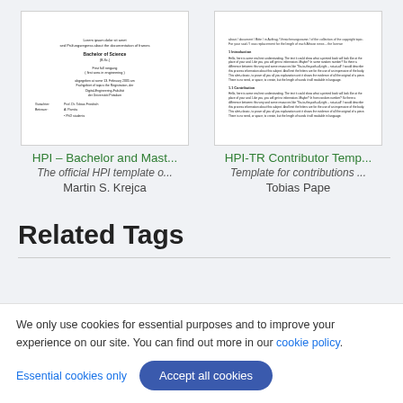[Figure (screenshot): Thumbnail of HPI Bachelor and Master thesis template document cover page]
HPI – Bachelor and Mast...
The official HPI template o...
Martin S. Krejca
[Figure (screenshot): Thumbnail of HPI-TR Contributor Template document with introduction text]
HPI-TR Contributor Temp...
Template for contributions ...
Tobias Pape
Related Tags
We only use cookies for essential purposes and to improve your experience on our site. You can find out more in our cookie policy.
Essential cookies only
Accept all cookies